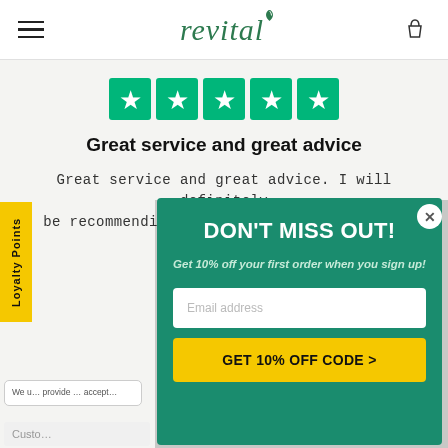revital (navigation header with hamburger menu and basket icon)
[Figure (other): Five green Trustpilot stars in a row]
Great service and great advice
Great service and great advice. I will definitely be recommending to friends and family for all
Loyalty Points (vertical tab label)
DON'T MISS OUT!
Get 10% off your first order when you sign up!
Email address (input placeholder)
GET 10% OFF CODE >
We u... provide ... accept... (cookie bar)
Custo... (customer bar)